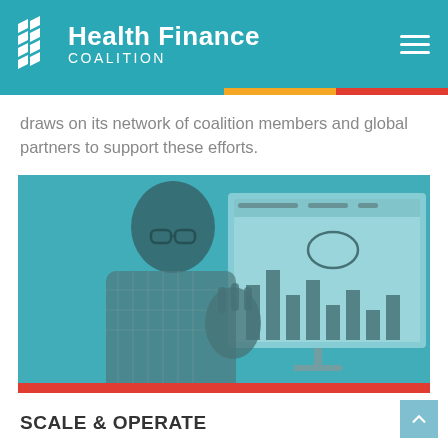Health Finance Coalition
draws on its network of coalition members and global partners to support these efforts.
[Figure (photo): A man wearing glasses and a plaid shirt gesturing with his hand while presenting in front of a large screen showing a bar chart dashboard. The image has a teal color overlay.]
SCALE & OPERATE